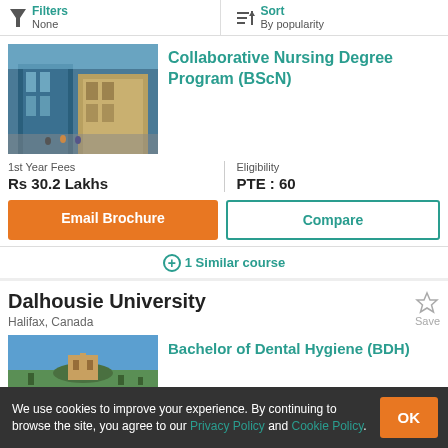Filters None | Sort By popularity
Collaborative Nursing Degree Program (BScN)
[Figure (photo): Photo of a modern glass building exterior with pedestrians on the street]
1st Year Fees
Rs 30.2 Lakhs
Eligibility
PTE : 60
Email Brochure
Compare
+ 1 Similar course
Dalhousie University
Halifax, Canada
Bachelor of Dental Hygiene (BDH)
[Figure (photo): Photo of a coastal landscape with a building on a hilltop]
We use cookies to improve your experience. By continuing to browse the site, you agree to our Privacy Policy and Cookie Policy.